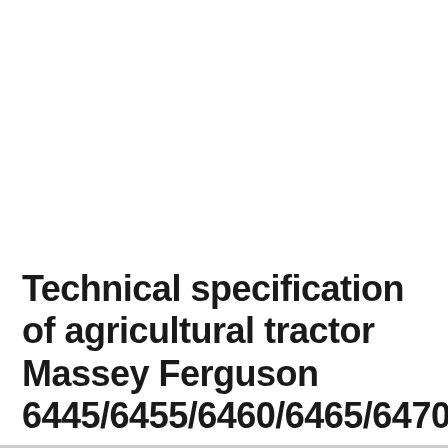Technical specification of agricultural tractor Massey Ferguson 6445/6455/6460/6465/6470/6475/6480 :